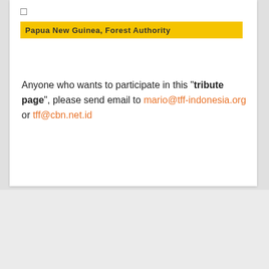Papua New Guinea, Forest Authority
Anyone who wants to participate in this "tribute page", please send email to mario@tff-indonesia.org or tff@cbn.net.id
Copyright © 2014 - 2019 Tropical Forest Foundation All rights reserved.